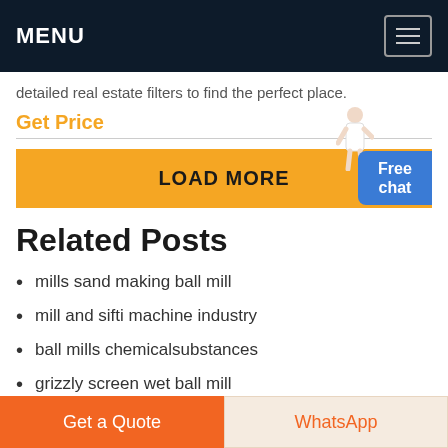MENU
detailed real estate filters to find the perfect place.
Get Price
LOAD MORE
Related Posts
mills sand making ball mill
mill and sifti machine industry
ball mills chemicalsubstances
grizzly screen wet ball mill
rolling mill pulverizer
function of coal mill in cement plant
Get a Quote | WhatsApp